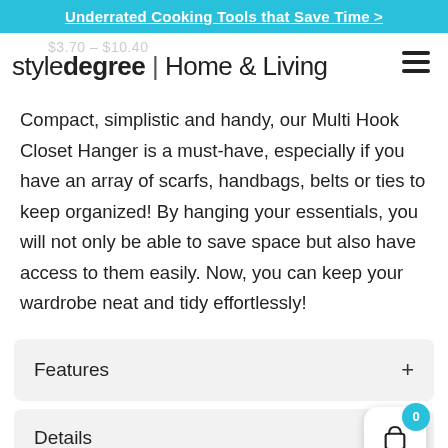Underrated Cooking Tools that Save Time >
style degree | Home & Living
Compact, simplistic and handy, our Multi Hook Closet Hanger is a must-have, especially if you have an array of scarfs, handbags, belts or ties to keep organized! By hanging your essentials, you will not only be able to save space but also have access to them easily. Now, you can keep your wardrobe neat and tidy effortlessly!
Features
Details